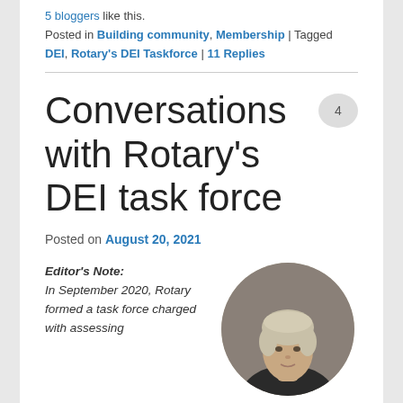5 bloggers like this.
Posted in Building community, Membership | Tagged DEI, Rotary's DEI Taskforce | 11 Replies
Conversations with Rotary's DEI task force
Posted on August 20, 2021
Editor's Note: In September 2020, Rotary formed a task force charged with assessing
[Figure (photo): Circular portrait photo of a woman with short grey/blonde hair]